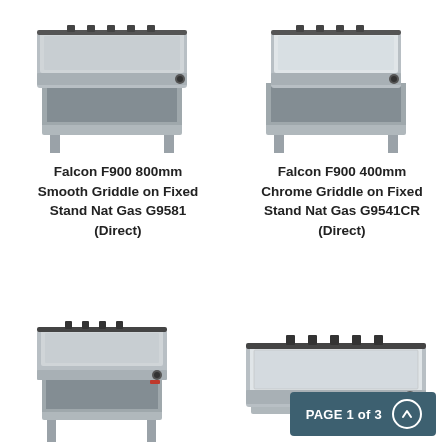[Figure (photo): Falcon F900 800mm Smooth Griddle on Fixed Stand Nat Gas G9581 — front-left perspective view of a stainless steel commercial griddle unit with open base stand and short legs]
[Figure (photo): Falcon F900 400mm Chrome Griddle on Fixed Stand Nat Gas G9541CR — front-right perspective view of a stainless steel commercial griddle unit with open base stand and short legs]
Falcon F900 800mm Smooth Griddle on Fixed Stand Nat Gas G9581 (Direct)
Falcon F900 400mm Chrome Griddle on Fixed Stand Nat Gas G9541CR (Direct)
[Figure (photo): Commercial gas griddle unit with flat cooking surface, front knob control, and open base stand — narrow 400mm model]
[Figure (photo): Commercial gas countertop griddle with wide flat cooking surface and side-mounted knob control — wider tabletop model]
PAGE 1 of 3